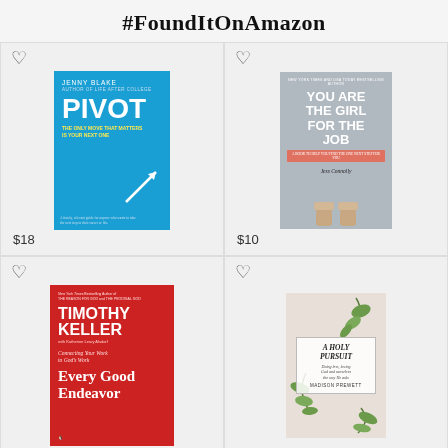#FoundItOnAmazon
[Figure (photo): Book cover: Pivot by Jenny Blake – blue cover with white PIVOT text and upward arrow, price $18]
$18
[Figure (photo): Book cover: You Are The Girl For The Job by Jess Connolly – grey cover with white bold title, red band, and feet at bottom, price $10]
$10
[Figure (photo): Book cover: Every Good Endeavor by Timothy Keller – red cover with white author name and title, price $17]
$17
[Figure (photo): Book cover: A Holy Pursuit – beige cover with botanical illustration and small title card, price $17]
$17